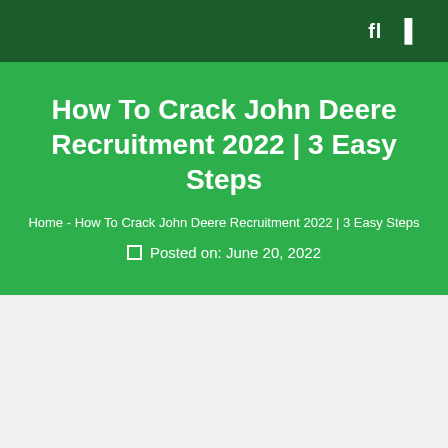fl  ▌
How To Crack John Deere Recruitment 2022 | 3 Easy Steps
Home - How To Crack John Deere Recruitment 2022 | 3 Easy Steps
⊟  Posted on: June 20, 2022